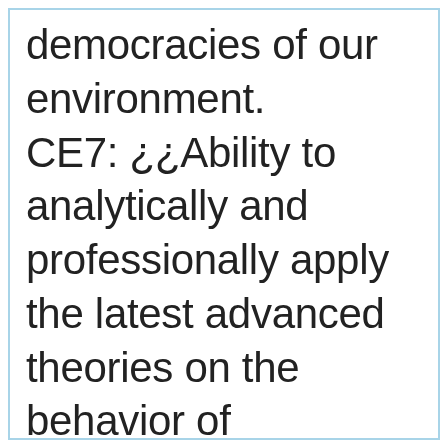democracies of our environment. CE7: ¿¿Ability to analytically and professionally apply the latest advanced theories on the behavior of